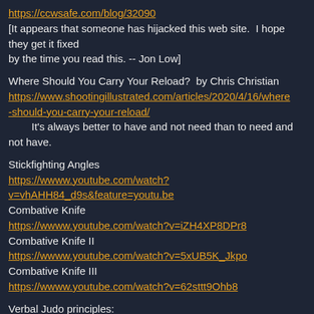https://ccwsafe.com/blog/32090
[It appears that someone has hijacked this web site.  I hope they get it fixed
by the time you read this. -- Jon Low]
Where Should You Carry Your Reload?  by Chris Christian
https://www.shootingillustrated.com/articles/2020/4/16/where-should-you-carry-your-reload/
    It's always better to have and not need than to need and not have.
Stickfighting Angles
https://wwww.youtube.com/watch?v=vhAHH84_d9s&feature=youtu.be
Combative Knife
https://wwww.youtube.com/watch?v=iZH4XP8DPr8
Combative Knife II
https://wwww.youtube.com/watch?v=5xUB5K_Jkpo
Combative Knife III
https://wwww.youtube.com/watch?v=62sttt9Ohb8
Verbal Judo principles: